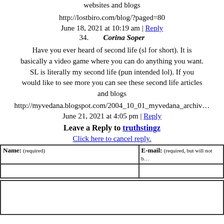websites and blogs
http://lostbiro.com/blog/?paged=80
June 18, 2021 at 10:19 am | Reply
34. Corina Soper
Have you ever heard of second life (sl for short). It is basically a video game where you can do anything you want. SL is literally my second life (pun intended lol). If you would like to see more you can see these second life articles and blogs
http://myvedana.blogspot.com/2004_10_01_myvedana_archiv...
June 21, 2021 at 4:05 pm | Reply
Leave a Reply to truthstingz
Click here to cancel reply.
| Name: (required) | E-mail: (required, but will not be published) |
| --- | --- |
|  |  |